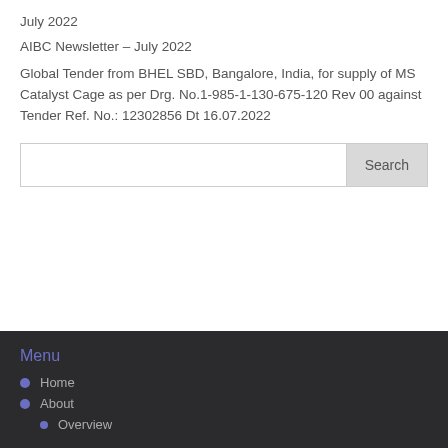July 2022
AIBC Newsletter – July 2022
Global Tender from BHEL SBD, Bangalore, India, for supply of MS Catalyst Cage as per Drg. No.1-985-1-130-675-120 Rev 00 against Tender Ref. No.: 12302856 Dt 16.07.2022
Menu
Home
About
Overview